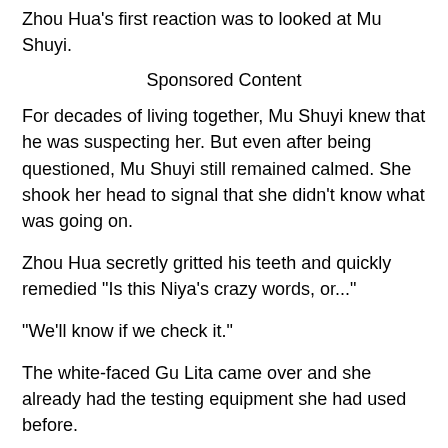Zhou Hua's first reaction was to looked at Mu Shuyi.
Sponsored Content
For decades of living together, Mu Shuyi knew that he was suspecting her. But even after being questioned, Mu Shuyi still remained calmed. She shook her head to signal that she didn't know what was going on.
Zhou Hua secretly gritted his teeth and quickly remedied "Is this Niya's crazy words, or..."
"We'll know if we check it."
The white-faced Gu Lita came over and she already had the testing equipment she had used before.